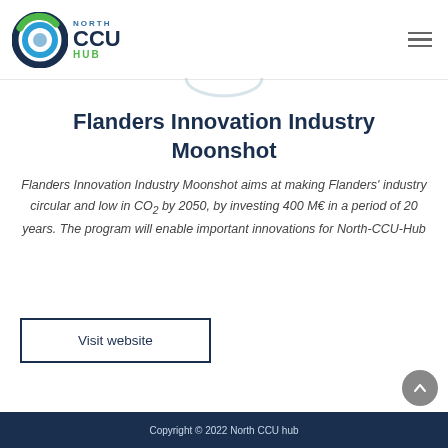[Figure (logo): North CCU Hub logo with circular green/blue/teal icon and stylized text]
Flanders Innovation Industry Moonshot
Flanders Innovation Industry Moonshot aims at making Flanders' industry circular and low in CO₂ by 2050, by investing 400 M€ in a period of 20 years. The program will enable important innovations for North-CCU-Hub
Visit website
Copyright © 2022 North CCU hub